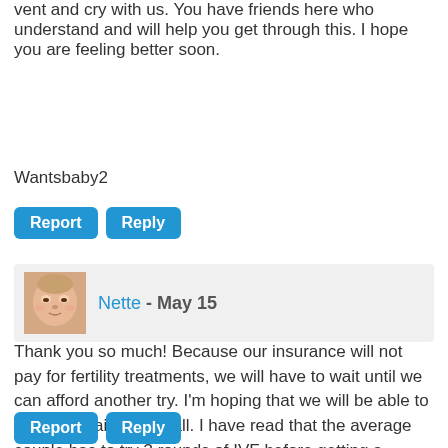vent and cry with us. You have friends here who understand and will help you get through this. I hope you are feeling better soon.
Wantsbaby2
[Figure (other): Report and Reply buttons (blue rounded rectangles)]
[Figure (photo): Baby avatar photo next to username Nette - May 15]
Thank you so much! Because our insurance will not pay for fertility treatments, we will have to wait until we can afford another try. I'm hoping that we will be able to afford it again in the fall. I have read that the average couple has to try 3 rounds of IVF before getting a positive result. Hopefully we can try the third round at the beginning of 2006!
[Figure (other): Report and Reply buttons (blue rounded rectangles)]